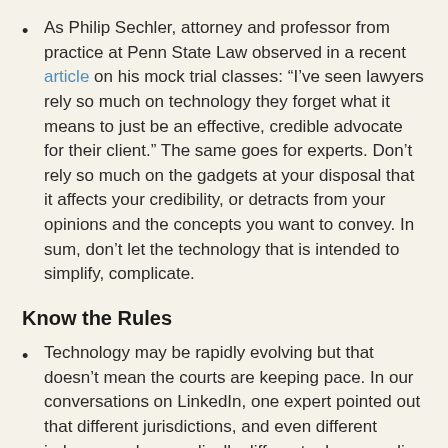As Philip Sechler, attorney and professor from practice at Penn State Law observed in a recent article on his mock trial classes: “I’ve seen lawyers rely so much on technology they forget what it means to just be an effective, credible advocate for their client.” The same goes for experts. Don’t rely so much on the gadgets at your disposal that it affects your credibility, or detracts from your opinions and the concepts you want to convey. In sum, don’t let the technology that is intended to simplify, complicate.
Know the Rules
Technology may be rapidly evolving but that doesn’t mean the courts are keeping pace. In our conversations on LinkedIn, one expert pointed out that different jurisdictions, and even different judges may have radically different rules regarding whether the use of iPads and other technology is permissible. For example, as